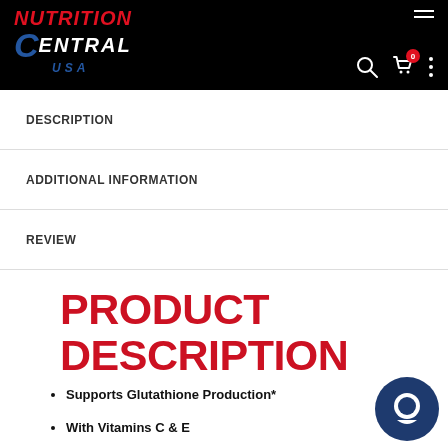Nutrition Central USA
DESCRIPTION
ADDITIONAL INFORMATION
REVIEW
PRODUCT DESCRIPTION
Supports Glutathione Production*
With Vitamins C & E